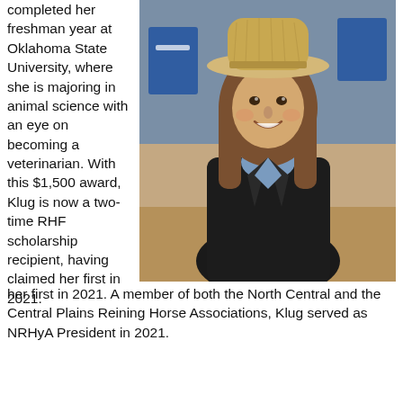completed her freshman year at Oklahoma State University, where she is majoring in animal science with an eye on becoming a veterinarian. With this $1,500 award, Klug is now a two-time RHF scholarship recipient, having claimed her first in 2021. A member of both the North Central and the Central Plains Reining Horse Associations, Klug served as NRHyA President in 2021.
[Figure (photo): A young woman wearing a tan cowboy hat and black blazer over a blue plaid shirt, smiling, standing in what appears to be an indoor arena with a dirt floor and blue banners in the background.]